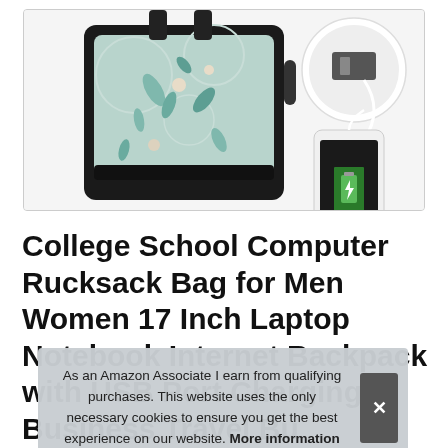[Figure (photo): Product photo showing a decorative backpack with floral/botanical pattern on teal background, and a detail inset showing USB charging port with a phone being charged.]
College School Computer Rucksack Bag for Men Women 17 Inch Laptop Notebook Internet Backpack with USB Port Charging Business Travel Backpack Bus...
As an Amazon Associate I earn from qualifying purchases. This website uses the only necessary cookies to ensure you get the best experience on our website. More information